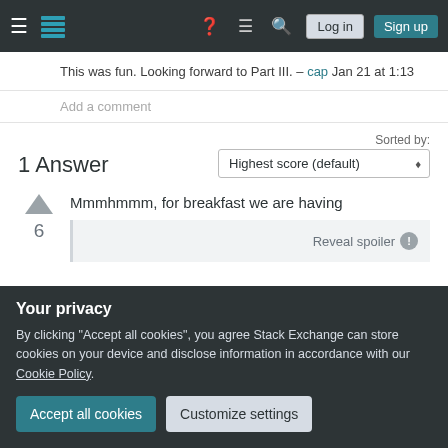Stack Exchange navigation bar with hamburger menu, logo, help, chat, search icons, Log in and Sign up buttons
This was fun. Looking forward to Part III. – cap Jan 21 at 1:13
Add a comment
1 Answer
Sorted by:
Highest score (default)
Mmmhmmm, for breakfast we are having
6
Reveal spoiler
Your privacy
By clicking "Accept all cookies", you agree Stack Exchange can store cookies on your device and disclose information in accordance with our Cookie Policy.
Accept all cookies
Customize settings